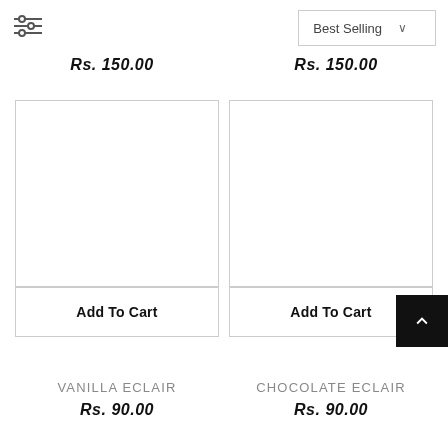[Figure (screenshot): Filter/sort icon with three horizontal slider lines]
Best Selling
Rs. 150.00
Rs. 150.00
[Figure (photo): Vanilla Eclair product image placeholder (white/empty)]
Add To Cart
[Figure (photo): Chocolate Eclair product image placeholder (white/empty)]
Add To Cart
VANILLA ECLAIR
Rs. 90.00
CHOCOLATE ECLAIR
Rs. 90.00